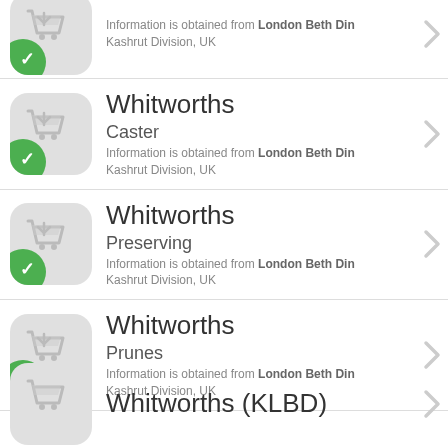Whitworths — Caster — Information is obtained from London Beth Din Kashrut Division, UK
Whitworths — Preserving — Information is obtained from London Beth Din Kashrut Division, UK
Whitworths — Prunes — Information is obtained from London Beth Din Kashrut Division, UK
Whitworths (KLBD)